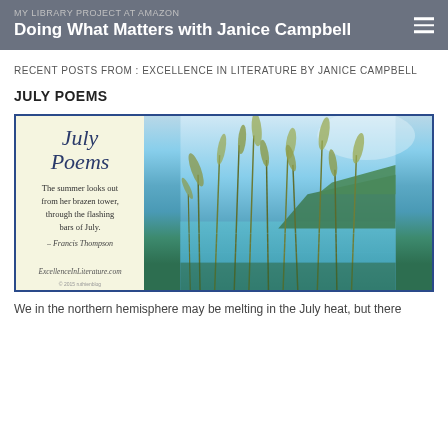MY LIBRARY PROJECT AT AMAZON
Doing What Matters with Janice Campbell
RECENT POSTS FROM : EXCELLENCE IN LITERATURE BY JANICE CAMPBELL
JULY POEMS
[Figure (photo): Composite image: left panel is a yellow quote card with 'July Poems' in cursive, a Francis Thompson quote 'The summer looks out from her brazen tower, through the flashing bars of July.', and ExcellenceInLiterature.com; right panel is a nature photo of tall grass reeds against a blue lake and mountain landscape.]
We in the northern hemisphere may be melting in the July heat, but there